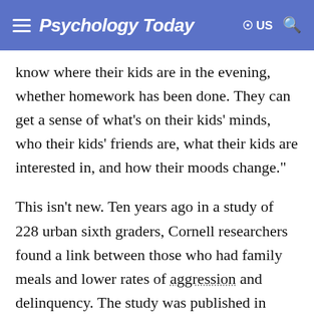Psychology Today
know where their kids are in the evening, whether homework has been done. They can get a sense of what's on their kids' minds, who their kids' friends are, what their kids are interested in, and how their moods change."
This isn't new. Ten years ago in a study of 228 urban sixth graders, Cornell researchers found a link between those who had family meals and lower rates of aggression and delinquency. The study was published in Psychology of Addicted Behaviors.
Isn't that part of the point of being a family? Don't